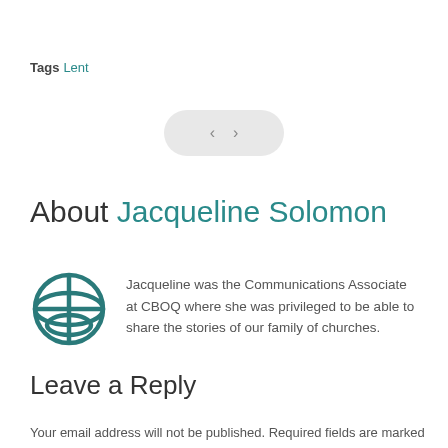Tags Lent
[Figure (other): Navigation pill with left and right chevron arrows on a light gray rounded background]
About Jacqueline Solomon
[Figure (logo): CBOQ circular globe/grid logo in teal]
Jacqueline was the Communications Associate at CBOQ where she was privileged to be able to share the stories of our family of churches.
Leave a Reply
Your email address will not be published. Required fields are marked